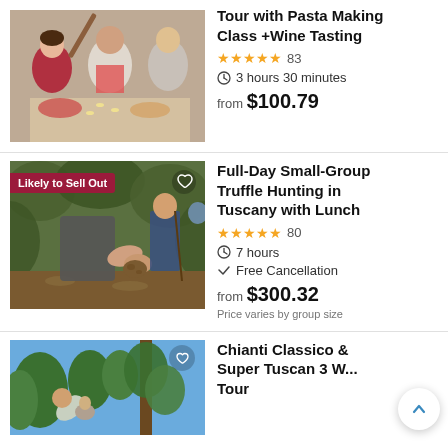[Figure (photo): People making pasta together in a kitchen, wearing aprons, laughing]
Tour with Pasta Making Class +Wine Tasting
★★★★★ 83
3 hours 30 minutes
from $100.79
[Figure (photo): Person holding a truffle in a forest, truffle hunting scene, 'Likely to Sell Out' badge]
Full-Day Small-Group Truffle Hunting in Tuscany with Lunch
★★★★★ 80
7 hours
Free Cancellation
from $300.32
Price varies by group size
[Figure (photo): People outdoors in vineyard/garden setting in Tuscany, blue sky, green trees]
Chianti Classico & Super Tuscan 3 W... Tour